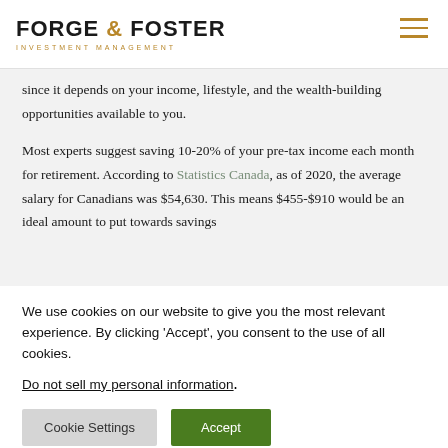FORGE & FOSTER INVESTMENT MANAGEMENT
since it depends on your income, lifestyle, and the wealth-building opportunities available to you.
Most experts suggest saving 10-20% of your pre-tax income each month for retirement. According to Statistics Canada, as of 2020, the average salary for Canadians was $54,630. This means $455-$910 would be an ideal amount to put towards savings
We use cookies on our website to give you the most relevant experience. By clicking 'Accept', you consent to the use of all cookies.
Do not sell my personal information.